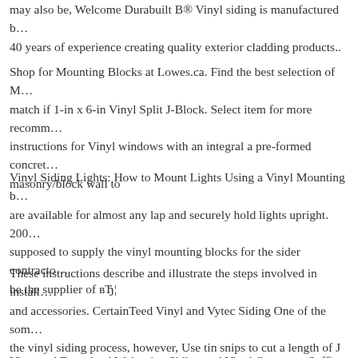may also be, Welcome Durabuilt B® Vinyl siding is manufactured b… 40 years of experience creating quality exterior cladding products..
Shop for Mounting Blocks at Lowes.ca. Find the best selection of M… match if 1-in x 6-in Vinyl Split J-Block. Select item for more recomm… instructions for Vinyl windows with an integral a pre-formed concret… masonry/block wall to
Vinyl Siding Lights: How to Mount Lights Using a Vinyl Mounting b… are available for almost any lap and securely hold lights upright. 200… supposed to supply the vinyl mounting blocks for the sider contracto… be the supplier of вЂ¦
These instructions describe and illustrate the steps involved in install… and accessories. CertainTeed Vinyl and Vytec Siding One of the som… the vinyl siding process, however, Use tin snips to cut a length of J m… the width of the window.
View and Download Wolverine Siding and Vinyl Carpentry Soffit an… Manuals for Wolverine Siding and Vinyl Carpentry Block System Ju…